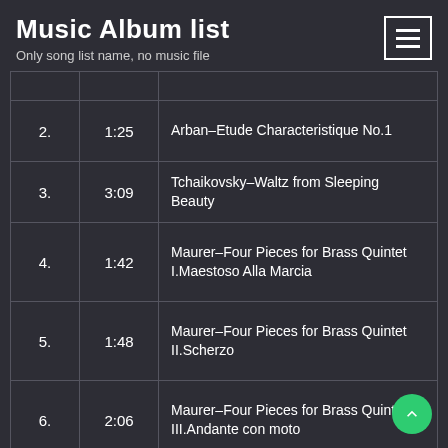Music Album list
Only song list name, no music file
| # | Time | Title |
| --- | --- | --- |
| 2. | 1:25 | Arban–Etude Characteristique No.1 |
| 3. | 3:09 | Tchaikovsky–Waltz from Sleeping Beauty |
| 4. | 1:42 | Maurer–Four Pieces for Brass Quintet I.Maestoso Alla Marcia |
| 5. | 1:48 | Maurer–Four Pieces for Brass Quintet II.Scherzo |
| 6. | 2:06 | Maurer–Four Pieces for Brass Quintet III.Andante con moto |
| 7. | 1:26 | Maurer–Four Pieces for Brass Quintet IV.Allergro Grazioso |
| 8. | 3:27 | Mozart–Serenade in G, K.525 'Eine Kleine Nachtmusik' |